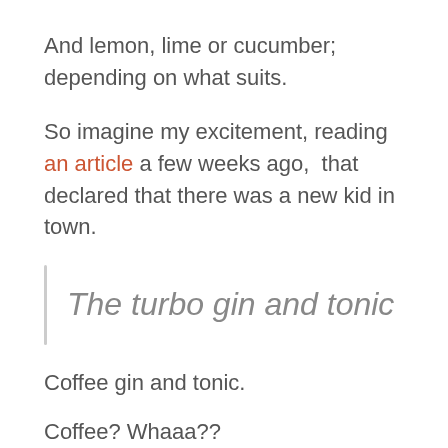And lemon, lime or cucumber; depending on what suits.
So imagine my excitement, reading an article a few weeks ago,  that declared that there was a new kid in town.
The turbo gin and tonic
Coffee gin and tonic.
Coffee? Whaaa??